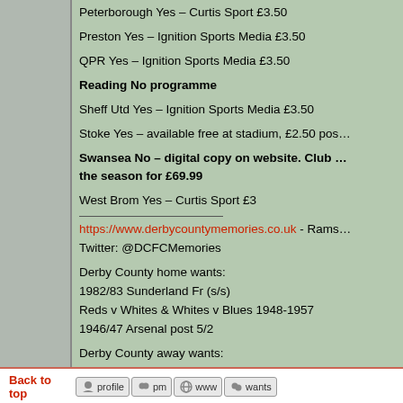Peterborough Yes – Curtis Sport £3.50
Preston Yes – Ignition Sports Media £3.50
QPR Yes – Ignition Sports Media £3.50
Reading No programme
Sheff Utd Yes – Ignition Sports Media £3.50
Stoke Yes – available free at stadium, £2.50 pos…
Swansea No – digital copy on website. Club … the season for £69.99
West Brom Yes – Curtis Sport £3
https://www.derbycountymemories.co.uk - Rams… Twitter: @DCFCMemories

Derby County home wants:
1982/83 Sunderland Fr (s/s)
Reds v Whites & Whites v Blues 1948-1957
1946/47 Arsenal post 5/2

Derby County away wants:
1968/69 Carlisle post 8/2/69
1946/47 Middlesbrough, Liverpool
1945/46 West Brom
Back to top   [profile] [pm] [www] [wants]